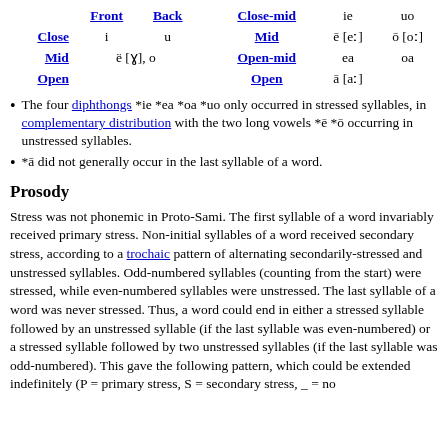|  | Front | Back |  | Close-mid |  |  |
| --- | --- | --- | --- | --- | --- | --- |
| Close | i | u |  | ie | uo |  |
| Mid | ë [ɣ], o |  | Mid | ē [eː] | ō [oː] |  |
| Open-mid |  |  | Open-mid | ea | oa |  |
| Open |  |  | Open | ā [aː] |  |  |
The four diphthongs *ie *ea *oa *uo only occurred in stressed syllables, in complementary distribution with the two long vowels *ē *ō occurring in unstressed syllables.
*ā did not generally occur in the last syllable of a word.
Prosody
Stress was not phonemic in Proto-Sami. The first syllable of a word invariably received primary stress. Non-initial syllables of a word received secondary stress, according to a trochaic pattern of alternating secondarily-stressed and unstressed syllables. Odd-numbered syllables (counting from the start) were stressed, while even-numbered syllables were unstressed. The last syllable of a word was never stressed. Thus, a word could end in either a stressed syllable followed by an unstressed syllable (if the last syllable was even-numbered) or a stressed syllable followed by two unstressed syllables (if the last syllable was odd-numbered). This gave the following pattern, which could be extended indefinitely (P = primary stress, S = secondary stress, _ = no